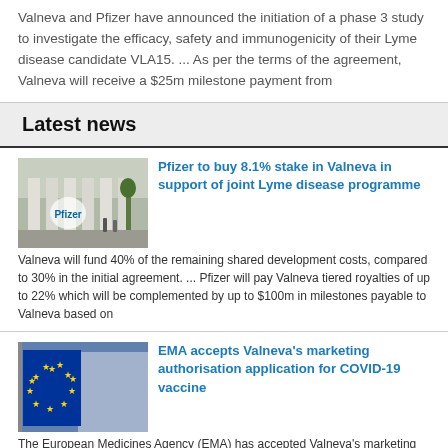Valneva and Pfizer have announced the initiation of a phase 3 study to investigate the efficacy, safety and immunogenicity of their Lyme disease candidate VLA15. ... As per the terms of the agreement, Valneva will receive a $25m milestone payment from
Latest news
[Figure (photo): Pfizer building exterior with columns and pedestrians]
Pfizer to buy 8.1% stake in Valneva in support of joint Lyme disease programme
Valneva will fund 40% of the remaining shared development costs, compared to 30% in the initial agreement. ... Pfizer will pay Valneva tiered royalties of up to 22% which will be complemented by up to $100m in milestones payable to Valneva based on
[Figure (photo): European Union flag waving against building background]
EMA accepts Valneva's marketing authorisation application for COVID-19 vaccine
The European Medicines Agency (EMA) has accepted Valneva's marketing authorisation application (MAA) for its COVID-19 vaccine candidate, VLA2001. ... Valneva's vaccine candidate is currently the only whole virus, inactivated, adjuvanted candidate for
[Figure (photo): Nature/outdoors scene thumbnail]
Pfizer and Valneva announce positive phase 2